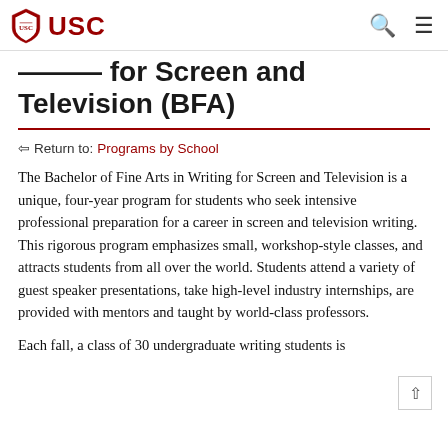USC — Return to: Programs by School
Writing for Screen and Television (BFA)
Return to: Programs by School
The Bachelor of Fine Arts in Writing for Screen and Television is a unique, four-year program for students who seek intensive professional preparation for a career in screen and television writing. This rigorous program emphasizes small, workshop-style classes, and attracts students from all over the world. Students attend a variety of guest speaker presentations, take high-level industry internships, are provided with mentors and taught by world-class professors.
Each fall, a class of 30 undergraduate writing students is